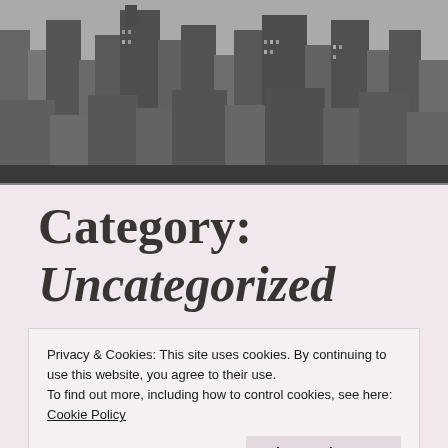[Figure (photo): Aerial black and white photograph of a dense urban skyline with skyscrapers]
Category: Uncategorized
Privacy & Cookies: This site uses cookies. By continuing to use this website, you agree to their use.
To find out more, including how to control cookies, see here:
Cookie Policy
Close and accept
Story: Not